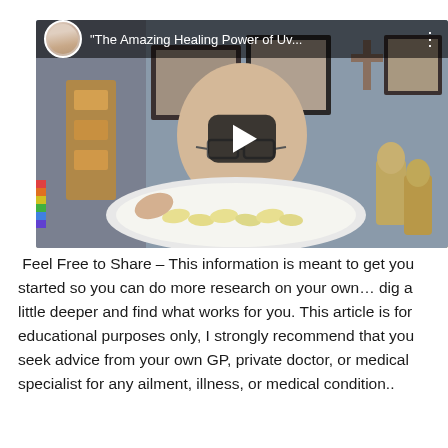[Figure (screenshot): YouTube video thumbnail showing a bald man with glasses holding a white plate with capsules/pills, with religious and spiritual imagery in the background. A play button overlay is visible. Video title reads "The Amazing Healing Power of Uv..."]
Feel Free to Share – This information is meant to get you started so you can do more research on your own… dig a little deeper and find what works for you. This article is for educational purposes only, I strongly recommend that you seek advice from your own GP, private doctor, or medical specialist for any ailment, illness, or medical condition..